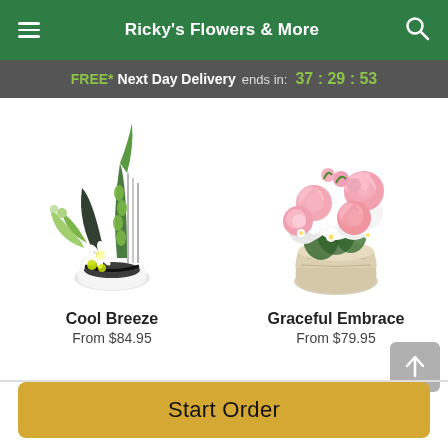Ricky's Flowers & More
FREE* Next Day Delivery ends in: 37:29:53
[Figure (photo): Cool Breeze flower arrangement: modern white vase with green foliage, white daisies, green flowers, and tall metallic stems with black ribbon]
Cool Breeze
From $84.95
[Figure (photo): Graceful Embrace flower arrangement: pink roses and white flowers in a textured round stone-like vase]
Graceful Embrace
From $79.95
Start Order